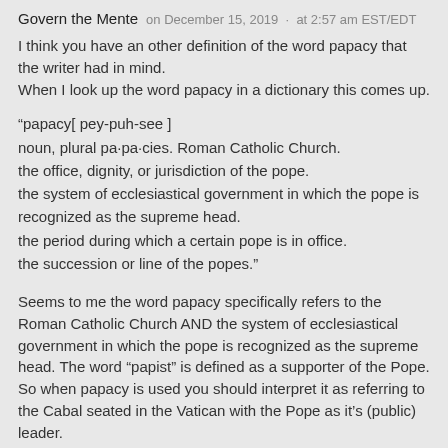Govern the Mente   on December 15, 2019  ·  at 2:57 am EST/EDT
I think you have an other definition of the word papacy that the writer had in mind.
When I look up the word papacy in a dictionary this comes up.
“papacy[ pey-puh-see ]
noun, plural pa·pa·cies. Roman Catholic Church.
the office, dignity, or jurisdiction of the pope.
the system of ecclesiastical government in which the pope is recognized as the supreme head.
the period during which a certain pope is in office.
the succession or line of the popes.”
Seems to me the word papacy specifically refers to the Roman Catholic Church AND the system of ecclesiastical government in which the pope is recognized as the supreme head. The word “papist” is defined as a supporter of the Pope.
So when papacy is used you should interpret it as referring to the Cabal seated in the Vatican with the Pope as it’s (public) leader.
Not meaning just Catholics in general but specifically the organizational top of the Roman Catholic Church.